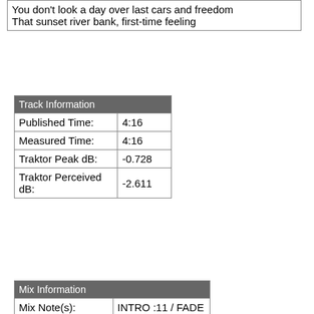You don't look a day over last cars and freedom
That sunset river bank, first-time feeling
| Track Information |  |
| --- | --- |
| Published Time: | 4:16 |
| Measured Time: | 4:16 |
| Traktor Peak dB: | -0.728 |
| Traktor Perceived dB: | -2.611 |
| Mix Information |  |
| --- | --- |
| Mix Note(s): | INTRO :11 / FADE |
| Published BPM: | 118 |
| Mixmeister BPM: | 118.0 |
| Traktor BPM: | 118.0 (100.0%) |
| Mixmeister Key: | D#m |
| External Cross-Referencing |  |
| --- | --- |
| MusicBrainz PUID: | aa78759f-0967-597e-34c2-1f45b5dde9cc |
| MusicBrainz MusicDNS |  |
| --- | --- |
| Song Artist: | Rascal Flatts |